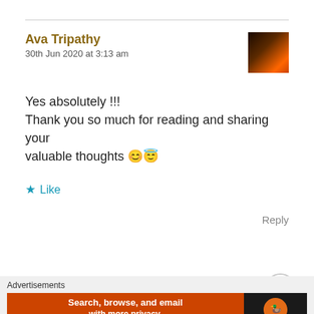Ava Tripathy
30th Jun 2020 at 3:13 am
Yes absolutely !!!
Thank you so much for reading and sharing your valuable thoughts 😊😇
★ Like
Reply
Advertisements
[Figure (screenshot): DuckDuckGo advertisement banner reading 'Search, browse, and email with more privacy. All in One Free App']